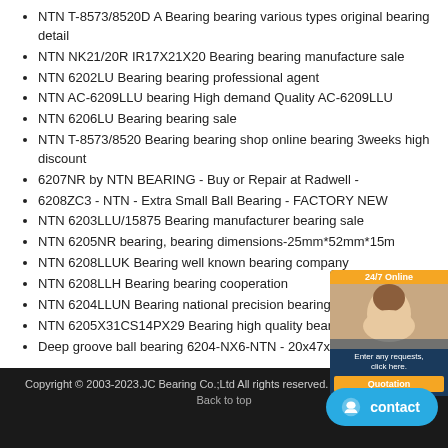NTN T-8573/8520D A Bearing bearing various types original bearing detail
NTN NK21/20R IR17X21X20 Bearing bearing manufacture sale
NTN 6202LU Bearing bearing professional agent
NTN AC-6209LLU bearing High demand Quality AC-6209LLU
NTN 6206LU Bearing bearing sale
NTN T-8573/8520 Bearing bearing shop online bearing 3weeks high discount
6207NR by NTN BEARING - Buy or Repair at Radwell -
6208ZC3 - NTN - Extra Small Ball Bearing - FACTORY NEW
NTN 6203LLU/15875 Bearing manufacturer bearing sale
NTN 6205NR bearing, bearing dimensions-25mm*52mm*15m
NTN 6208LLUK Bearing well known bearing company
NTN 6208LLH Bearing bearing cooperation
NTN 6204LLUN Bearing national precision bearing
NTN 6205X31CS14PX29 Bearing high quality bearing
Deep groove ball bearing 6204-NX6-NTN - 20x47x14 mm
Copyright © 2003-2023.JC Bearing Co.;Ltd All rights reserved. | bearing-sale.com
Back to top